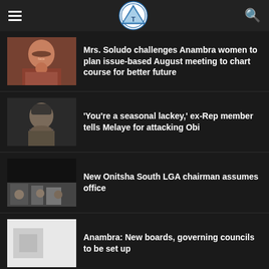News app header with hamburger menu, logo, and search icon
Mrs. Soludo challenges Anambra women to plan issue-based August meeting to chart course for better future
‘You’re a seasonal lackey,’ ex-Rep member tells Melaye for attacking Obi
New Onitsha South LGA chairman assumes office
Anambra: New boards, governing councils to be set up